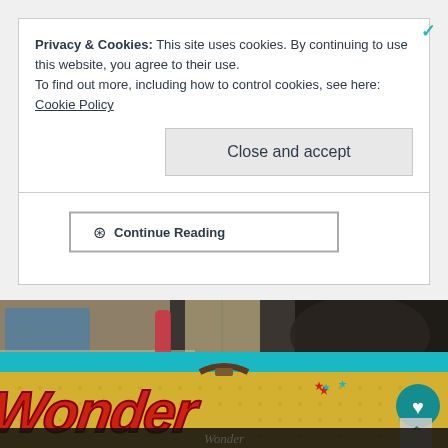Privacy & Cookies: This site uses cookies. By continuing to use this website, you agree to their use.
To find out more, including how to control cookies, see here: Cookie Policy
Close and accept
⊙ Continue Reading
[Figure (photo): Photo of a Wonder Woman lunchbox with a teal border and yellow face with 'Wonder' text in red, placed in a room with various items visible in the background. A heart icon overlay is visible on the right side.]